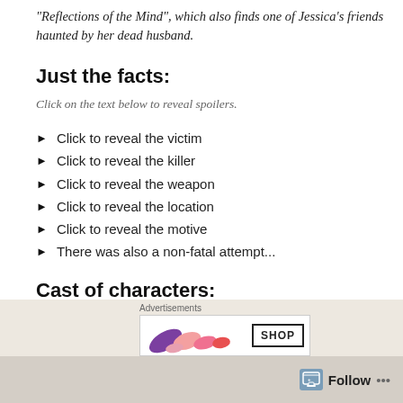“Reflections of the Mind”, which also finds one of Jessica’s friends haunted by her dead husband.
Just the facts:
Click on the text below to reveal spoilers.
Click to reveal the victim
Click to reveal the killer
Click to reveal the weapon
Click to reveal the location
Click to reveal the motive
There was also a non-fatal attempt...
Cast of characters:
Advertisements